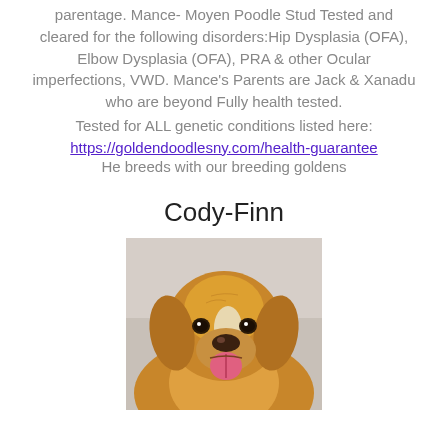parentage. Mance- Moyen Poodle Stud Tested and cleared for the following disorders:Hip Dysplasia (OFA), Elbow Dysplasia (OFA), PRA & other Ocular imperfections, VWD. Mance's Parents are Jack & Xanadu who are beyond Fully health tested.
Tested for ALL genetic conditions listed here:
https://goldendoodlesny.com/health-guarantee
He breeds with our breeding goldens
Cody-Finn
[Figure (photo): A golden retriever dog looking at the camera with tongue out, close-up face shot with light background]